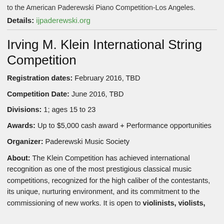to the American Paderewski Piano Competition-Los Angeles.
Details: ijpaderewski.org
Irving M. Klein International String Competition
Registration dates: February 2016, TBD
Competition Date: June 2016, TBD
Divisions: 1; ages 15 to 23
Awards: Up to $5,000 cash award + Performance opportunities
Organizer: Paderewski Music Society
About: The Klein Competition has achieved international recognition as one of the most prestigious classical music competitions, recognized for the high caliber of the contestants, its unique, nurturing environment, and its commitment to the commissioning of new works. It is open to violinists, violists,